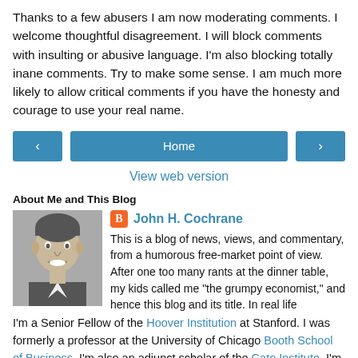Thanks to a few abusers I am now moderating comments. I welcome thoughtful disagreement. I will block comments with insulting or abusive language. I'm also blocking totally inane comments. Try to make some sense. I am much more likely to allow critical comments if you have the honesty and courage to use your real name.
Home (navigation buttons: < Home >)
View web version
About Me and This Blog
[Figure (photo): Black and white portrait photo of a man smiling]
John H. Cochrane
This is a blog of news, views, and commentary, from a humorous free-market point of view. After one too many rants at the dinner table, my kids called me "the grumpy economist," and hence this blog and its title. In real life I'm a Senior Fellow of the Hoover Institution at Stanford. I was formerly a professor at the University of Chicago Booth School of Business. I'm also an adjunct scholar of the Cato Institute. I'm not